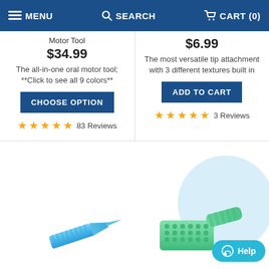MENU  SEARCH  CART (0)
Motor Tool
$34.99
The all-in-one oral motor tool; **Click to see all 9 colors**
CHOOSE OPTION
★★★★★ 83 Reviews
$6.99
The most versatile tip attachment with 3 different textures built in
ADD TO CART
★★★★★ 3 Reviews
[Figure (photo): Blue oral motor tool tip attachment - elongated pointed shape with ridged grip]
[Figure (photo): Green oral motor tool attachment - rectangular block shape with bumps/texture, next to a green cylindrical piece]